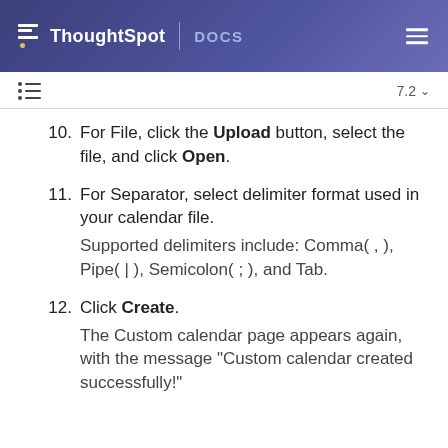ThoughtSpot DOCS
For File, click the Upload button, select the file, and click Open.
For Separator, select delimiter format used in your calendar file. Supported delimiters include: Comma( , ), Pipe( | ), Semicolon( ; ), and Tab.
Click Create. The Custom calendar page appears again, with the message "Custom calendar created successfully!"